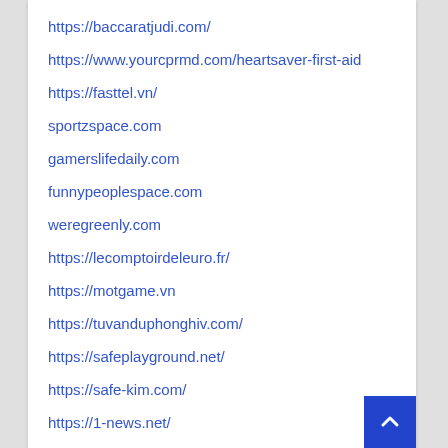https://baccaratjudi.com/
https://www.yourcprmd.com/heartsaver-first-aid
https://fasttel.vn/
sportzspace.com
gamerslifedaily.com
funnypeoplespace.com
weregreenly.com
https://lecomptoirdeleuro.fr/
https://motgame.vn
https://tuvanduphonghiv.com/
https://safeplayground.net/
https://safe-kim.com/
https://1-news.net/
https://technologyfullshow.com/